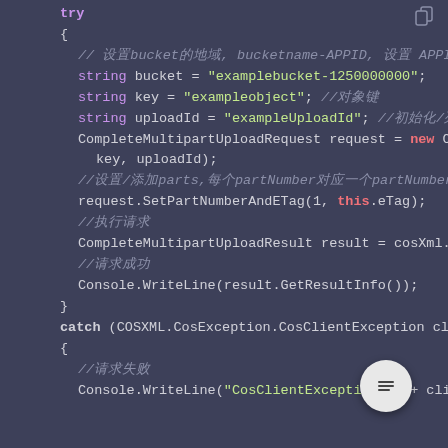[Figure (screenshot): Code editor screenshot showing C# code for CompleteMultipartUpload, with syntax highlighting on dark background. Contains try/catch block with string declarations, request setup, and Console.WriteLine calls.]